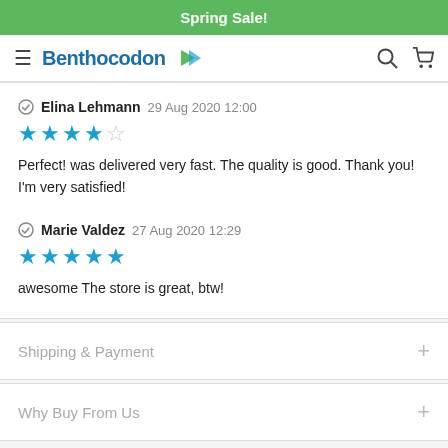Spring Sale!
Benthocodon (logo/nav)
Elina Lehmann 29 Aug 2020 12:00 — 4 stars — Perfect! was delivered very fast. The quality is good. Thank you! I'm very satisfied!
Marie Valdez 27 Aug 2020 12:29 — 5 stars — awesome The store is great, btw!
Shipping & Payment
Why Buy From Us